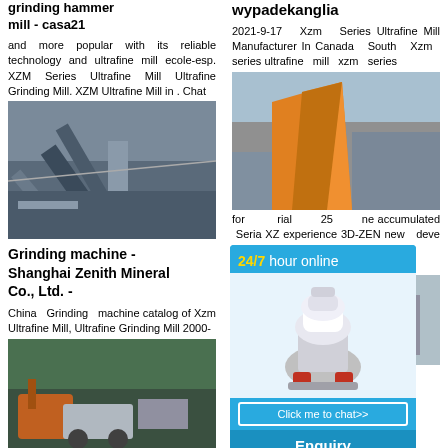grinding hammer mill - casa21
and more popular with its reliable technology and ultrafine mill ecole-esp. XZM Series Ultrafine Mill Ultrafine Grinding Mill. XZM Ultrafine Mill in . Chat
[Figure (photo): Industrial grinding/milling plant with conveyor belts and steel structures]
Grinding machine - Shanghai Zenith Mineral Co., Ltd. -
China Grinding machine catalog of Xzm Ultrafine Mill, Ultrafine Grinding Mill 2000-
[Figure (photo): Excavator and mobile crushing/grinding machine in forest setting]
wypadekanglia
2021-9-17 Xzm Series Ultrafine Mill Manufacturer In Canada South Xzm series ultrafine mill xzm series for rial 25 ne accumulated Seria XZ experience 3D-ZEN new deve Chinese science in Shanghai Constructi Ltd. Hea
[Figure (photo): Orange/yellow industrial crushing machine in warehouse]
[Figure (photo): Industrial site with machinery]
[Figure (infographic): 24/7 hour online chat widget with cone crusher image, Click me to chat button, Enquiry section, and limingjlmofen footer]